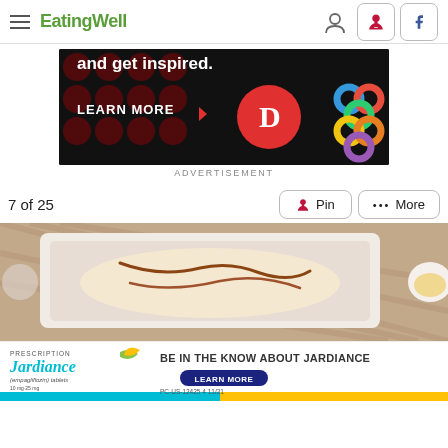EatingWell
[Figure (screenshot): Advertisement banner with black background showing 'and get inspired.' text with red period, LEARN MORE button with arrow, red circle D logo, and colorful geometric pattern logo on dark background]
ADVERTISEMENT
7 of 25
[Figure (photo): Food photo showing a white baking dish with a creamy casserole or enchilada dish with brown sauce on top, on a woven placemat background, with a white bowl visible on the right side]
[Figure (screenshot): Jardiance prescription medication advertisement: 'BE IN THE KNOW ABOUT JARDIANCE' with Jardiance (empagliflozin) tablets branding, LEARN MORE button, and PC-US-12425 4 11/21 reference code]